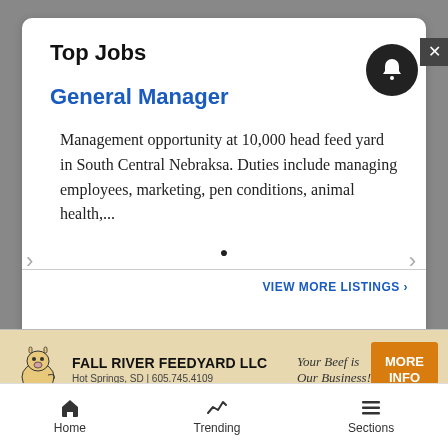Top Jobs
General Manager
Management opportunity at 10,000 head feed yard in South Central Nebraksa. Duties include managing employees, marketing, pen conditions, animal health,...
VIEW MORE LISTINGS ›
[Figure (other): Advertisement banner for Fall River Feedyard LLC with cow illustration, text 'Your Beef is Our Business!', Hot Springs, SD | 605.745.4109, and orange MORE INFO button]
Home  Trending  Sections